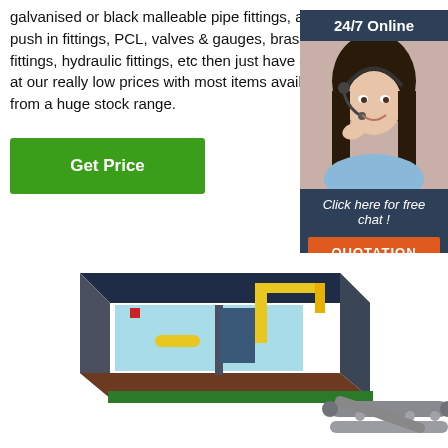galvanised or black malleable pipe fittings, airlines, push in fittings, PCL, valves & gauges, brass fittings, hydraulic fittings, etc then just have a look at our really low prices with most items available from a huge stock range.
Get Price
24/7 Online
[Figure (photo): Customer service representative wearing a headset, smiling]
Click here for free chat !
QUOTATION
[Figure (engineering-diagram): 3D isometric engineering diagram showing a cross-section of an industrial piping or conveyor system with a dark blue roof structure, light blue interior panels, yellow crane/arm components, green frame, grey cylindrical conveyor rollers extending to the right, and brown floor.]